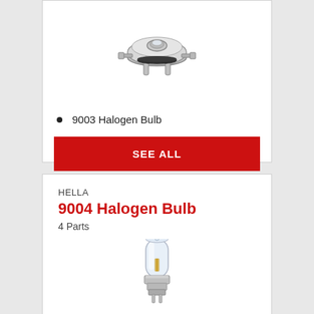[Figure (photo): 9003 halogen bulb product photo, top-down view showing metallic base with connection pins]
9003 Halogen Bulb
SEE ALL
HELLA
9004 Halogen Bulb
4 Parts
[Figure (photo): 9004 halogen bulb product photo showing tubular glass bulb with metallic base]